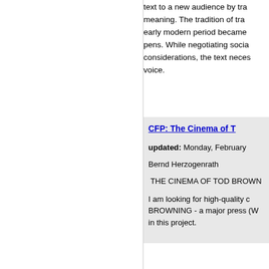text to a new audience by tra meaning. The tradition of tra early modern period became pens. While negotiating socia considerations, the text neces voice.
CFP: The Cinema of T
updated: Monday, February
Bernd Herzogenrath
THE CINEMA OF TOD BROWN
I am looking for high-quality c BROWNING - a major press (W in this project.